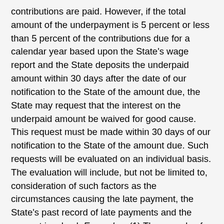contributions are paid. However, if the total amount of the underpayment is 5 percent or less than 5 percent of the contributions due for a calendar year based upon the State's wage report and the State deposits the underpaid amount within 30 days after the date of our notification to the State of the amount due, the State may request that the interest on the underpaid amount be waived for good cause. This request must be made within 30 days of our notification to the State of the amount due. Such requests will be evaluated on an individual basis. The evaluation will include, but not be limited to, consideration of such factors as the circumstances causing the late payment, the State's past record of late payments and the amount involved. Examples  (1) The records of a political subdivision for the month of June are destroyed by fire. The State makes an estimated deposit of contributions for the month of June for that political subdivision and deposits contributions for the month of June for all other political